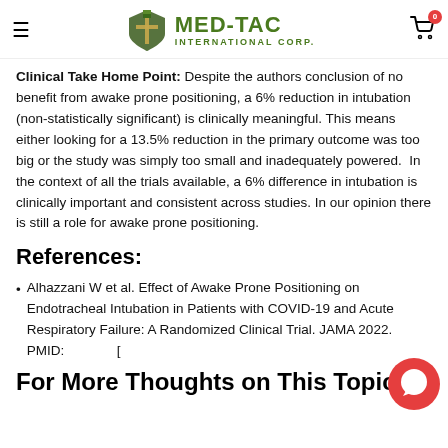MED-TAC INTERNATIONAL CORP.
Clinical Take Home Point: Despite the authors conclusion of no benefit from awake prone positioning, a 6% reduction in intubation (non-statistically significant) is clinically meaningful. This means either looking for a 13.5% reduction in the primary outcome was too big or the study was simply too small and inadequately powered. In the context of all the trials available, a 6% difference in intubation is clinically important and consistent across studies. In our opinion there is still a role for awake prone positioning.
References:
Alhazzani W et al. Effect of Awake Prone Positioning on Endotracheal Intubation in Patients with COVID-19 and Acute Respiratory Failure: A Randomized Clinical Trial. JAMA 2022. PMID: [
For More Thoughts on This Topic